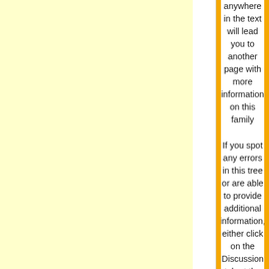anywhere in the text will lead you to another page with more information on this family
If you spot any errors in this tree or are able to provide additional information, either click on the Discussion tab at the top of the page and leave details there (you need to be a